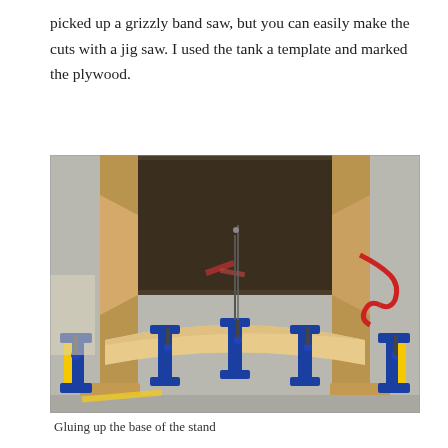picked up a grizzly band saw, but you can easily make the cuts with a jig saw. I used the tank a template and marked the plywood.
[Figure (photo): A wooden aquarium stand being glued and clamped. Several blue bar clamps are holding curved wooden pieces (the base aprons) against the frame. The stand is viewed from above/front, showing an open top box structure with corner braces. Tools and a red extension cord are visible in the background on a concrete floor.]
Gluing up the base of the stand